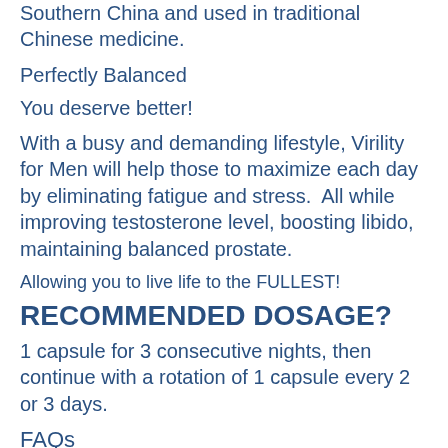Southern China and used in traditional Chinese medicine.
Perfectly Balanced
You deserve better!
With a busy and demanding lifestyle, Virility for Men will help those to maximize each day by eliminating fatigue and stress.  All while improving testosterone level, boosting libido, maintaining balanced prostate.
Allowing you to live life to the FULLEST!
RECOMMENDED DOSAGE?
1 capsule for 3 consecutive nights, then continue with a rotation of 1 capsule every 2 or 3 days.
FAQs